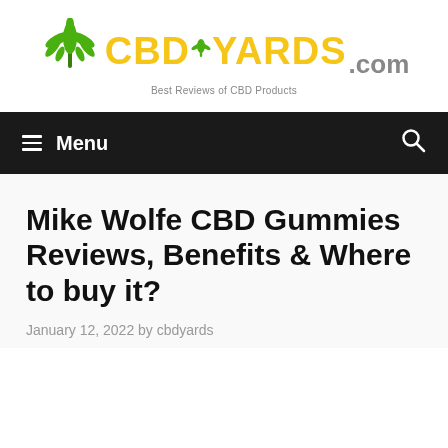[Figure (logo): CBDYards.com logo with green cannabis leaf icon and yellow bold text 'CBDYARDS' with grey '.com' and subtitle 'Best Reviews of CBD Products']
≡ Menu
Mike Wolfe CBD Gummies Reviews, Benefits & Where to buy it?
January 12, 2022 by cbdyards